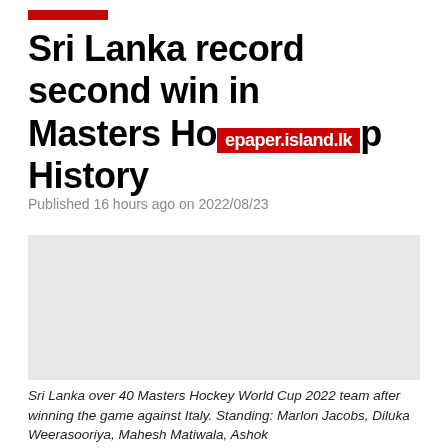Sri Lanka record second win in Masters Hockey World Cup History
Published 16 hours ago on 2022/08/23
[Figure (photo): Sri Lanka over 40 Masters Hockey World Cup 2022 team photo after winning the game against Italy.]
Sri Lanka over 40 Masters Hockey World Cup 2022 team after winning the game against Italy. Standing: Marlon Jacobs, Diluka Weerasooriya, Mahesh Matiwala, Ashok